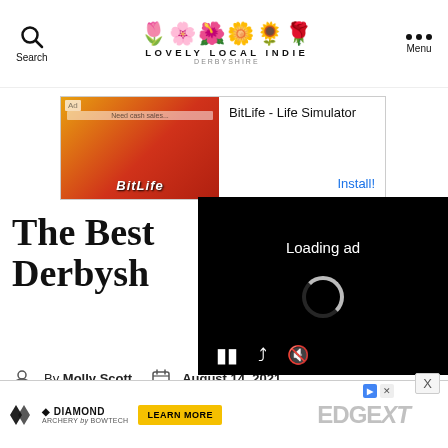Lovely Local Indie Derbyshire - Search | Menu
[Figure (screenshot): BitLife - Life Simulator advertisement banner with orange/red background showing game character and BitLife logo]
[Figure (screenshot): Video player overlay showing 'Loading ad' with spinner and playback controls on black background]
The Bes... Derbys...
By Molly Scott    August 14, 2021
[Figure (screenshot): Diamond Archery Edge XT advertisement banner at bottom of page with Learn More button]